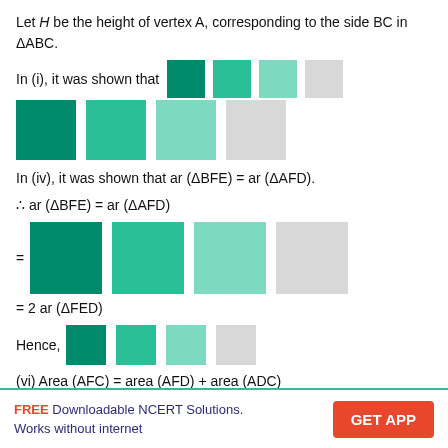Let H be the height of vertex A, corresponding to the side BC in ΔABC.
In (i), it was shown that [colored squares representing formula]
[Figure (infographic): Row of four colored squares: dark green, medium green, light green, light grey — representing formula terms]
In (iv), it was shown that ar (ΔBFE) = ar (ΔAFD).
∴ ar (ΔBFE) = ar (ΔAFD)
= [colored squares] = 2 ar (ΔFED)
= 2 ar (ΔFED)
Hence, [colored squares]
(vi) Area (AFC) = area (AFD) + area (ADC)
FREE Downloadable NCERT Solutions. Works without internet | GET APP